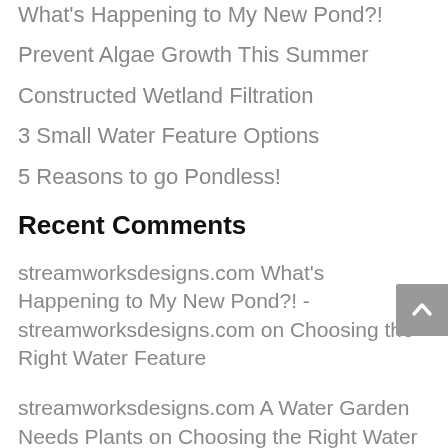What's Happening to My New Pond?!
Prevent Algae Growth This Summer
Constructed Wetland Filtration
3 Small Water Feature Options
5 Reasons to go Pondless!
Recent Comments
streamworksdesigns.com What's Happening to My New Pond?! - streamworksdesigns.com on Choosing the Right Water Feature
streamworksdesigns.com A Water Garden Needs Plants on Choosing the Right Water Feature
streamworksdesigns.com Spring Cleaning - streamworksdesigns.com on Got Lights?